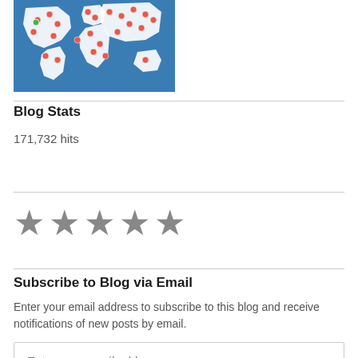[Figure (map): World map with red dot markers showing visitor locations on a blue background]
Blog Stats
171,732 hits
[Figure (other): Five gray star rating icons]
Subscribe to Blog via Email
Enter your email address to subscribe to this blog and receive notifications of new posts by email.
Enter your email address